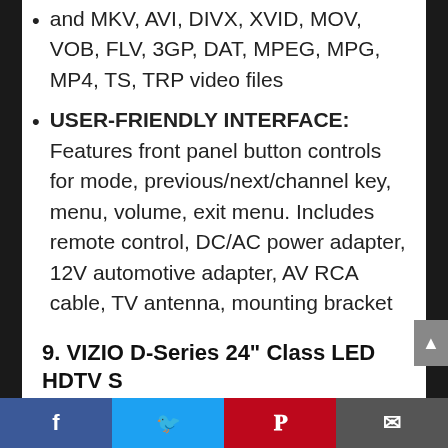and MKV, AVI, DIVX, XVID, MOV, VOB, FLV, 3GP, DAT, MPEG, MPG, MP4, TS, TRP video files
USER-FRIENDLY INTERFACE: Features front panel button controls for mode, previous/next/channel key, menu, volume, exit menu. Includes remote control, DC/AC power adapter, 12V automotive adapter, AV RCA cable, TV antenna, mounting bracket and battery
9. VIZIO D-Series 24” Class LED HDTV Smart TV D24f-G9
Facebook Twitter Pinterest Email